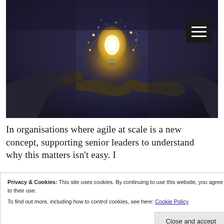[Figure (photo): Dark atmospheric photo of a person's cupped hands holding a glowing light bulb with fairy lights, suggesting innovation or ideas. A hamburger menu icon (three white horizontal lines on black background) appears in the upper right corner of the image.]
In organisations where agile at scale is a new concept, supporting senior leaders to understand why this matters isn't easy. I
Privacy & Cookies: This site uses cookies. By continuing to use this website, you agree to their use.
To find out more, including how to control cookies, see here: Cookie Policy
[Close and accept]
Darren Curry, Janet Hughes, Tom Read